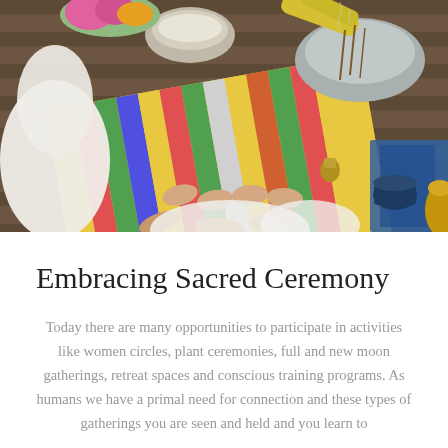[Figure (photo): Overhead view of people in white robes sitting on a colorful striped mat on a wooden deck, with bare feet visible, surrounded by ritual objects including bowls, flowers, incense, and brass vessels.]
Embracing Sacred Ceremony
Today there are many opportunities to participate in activities like women circles, plant ceremonies, full and new moon gatherings, retreat spaces and conscious training programs. As humans we have a primal need for connection and these types of gatherings you are seen and held and you learn to